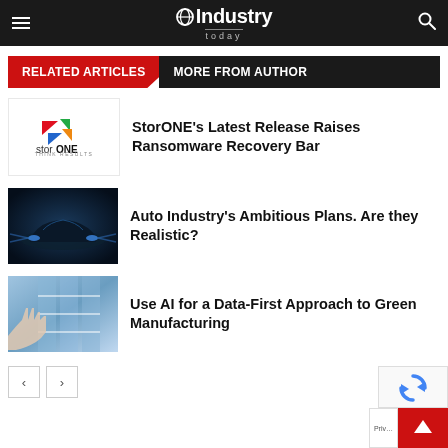Industry Today
RELATED ARTICLES | MORE FROM AUTHOR
[Figure (logo): StorONE company logo with colored triangles and tagline 'Think Results']
StorONE's Latest Release Raises Ransomware Recovery Bar
[Figure (photo): Dark blue futuristic car with glowing headlights]
Auto Industry's Ambitious Plans. Are they Realistic?
[Figure (photo): Hand touching digital interface screen with blue tones]
Use AI for a Data-First Approach to Green Manufacturing